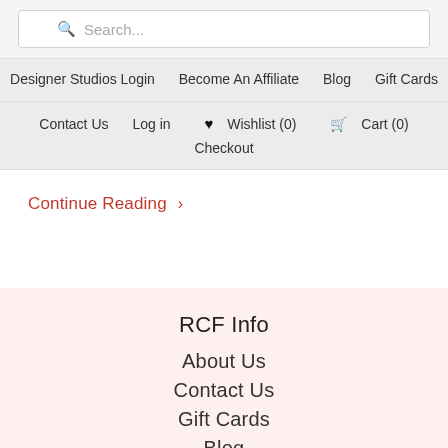Search...
Designer Studios Login   Become An Affiliate   Blog   Gift Cards
Contact Us   Log in   ♥ Wishlist (0)   🛒 Cart (0)   Checkout
Continue Reading >
RCF Info
About Us
Contact Us
Gift Cards
Blog
Terms of Service